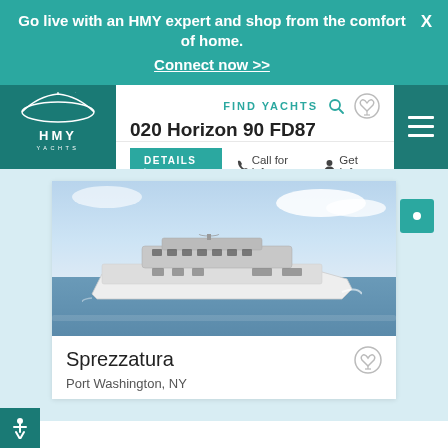Go live with an HMY expert and shop from the comfort of home.
Connect now >>
[Figure (logo): HMY Yachts logo — white stylized yacht icon above HMY YACHTS text on teal background]
FIND YACHTS
020 Horizon 90 FD87
DETAILS >   Call for info   Get Info
[Figure (photo): White luxury motor yacht named Sprezzatura cruising on calm blue water with blue sky and clouds in background]
Sprezzatura
Port Washington, NY